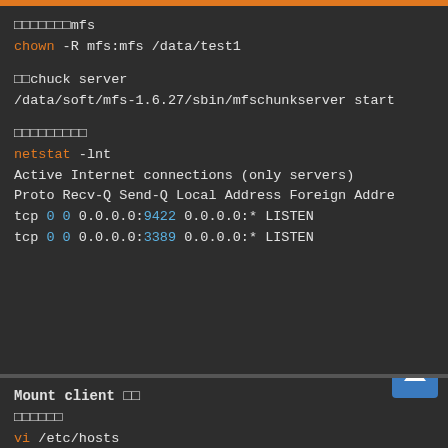□□□□□□□mfs
chown -R mfs:mfs /data/test1
□□chuck server
/data/soft/mfs-1.6.27/sbin/mfschunkserver start
□□□□□□□□□
netstat -lnt
Active Internet connections (only servers)
Proto Recv-Q Send-Q Local Address Foreign Addre
tcp 0 0 0.0.0.0:9422 0.0.0.0:* LISTEN
tcp 0 0 0.0.0.0:3389 0.0.0.0:* LISTEN
Mount client □□
□□□□□□
vi /etc/hosts
192.168.30.135 mfsmaster
□□mfs□ □ mfs□□
groupadd mfs && useradd -g mfs -s /sbin/nologin
mkdir tools